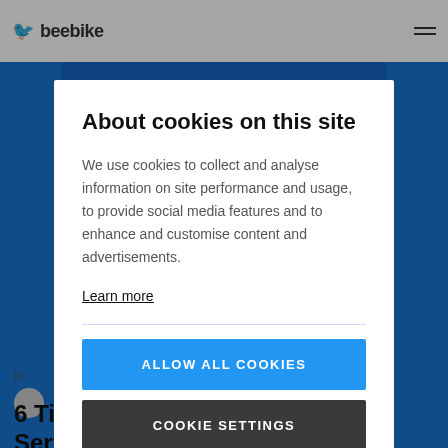beebike (logo) — hamburger menu
About cookies on this site
We use cookies to collect and analyse information on site performance and usage, to provide social media features and to enhance and customise content and advertisements.
Learn more
ALLOW ALL COOKIES
COOKIE SETTINGS
Di
6 Tips for Personal Customer Service in the Digital Age
'Personal' is something like a holy grail for customer service